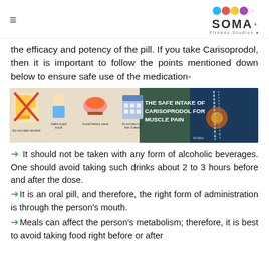≡  SOMA Fitness Studios
the efficacy and potency of the pill. If you take Carisoprodol, then it is important to follow the points mentioned down below to ensure safe use of the medication-
[Figure (infographic): Infographic titled 'THE SAFE INTAKE OF CARISOPRODOL FOR MUSCLE PAIN' showing icons for: Do not take alcohol, Intake through mouth, Avoid heavy meal, Do not take more than 3 weeks. Right side shows an X-ray/anatomical image of a spine/hip. Soma Fitness Studios logo in bottom right.]
It should not be taken with any form of alcoholic beverages. One should avoid taking such drinks about 2 to 3 hours before and after the dose.
It is an oral pill, and therefore, the right form of administration is through the person's mouth.
Meals can affect the person's metabolism; therefore, it is best to avoid taking food right before or after